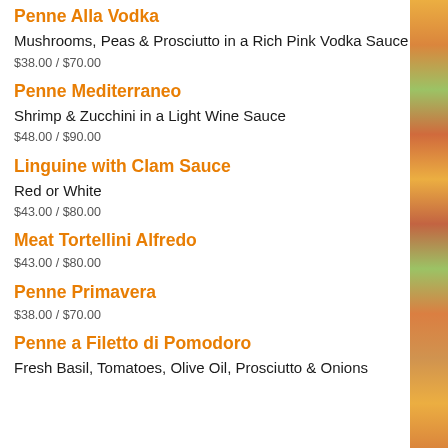Penne Alla Vodka
Mushrooms, Peas & Prosciutto in a Rich Pink Vodka Sauce
$38.00 / $70.00
Penne Mediterraneo
Shrimp & Zucchini in a Light Wine Sauce
$48.00 / $90.00
Linguine with Clam Sauce
Red or White
$43.00 / $80.00
Meat Tortellini Alfredo
$43.00 / $80.00
Penne Primavera
$38.00 / $70.00
Penne a Filetto di Pomodoro
Fresh Basil, Tomatoes, Olive Oil, Prosciutto & Onions